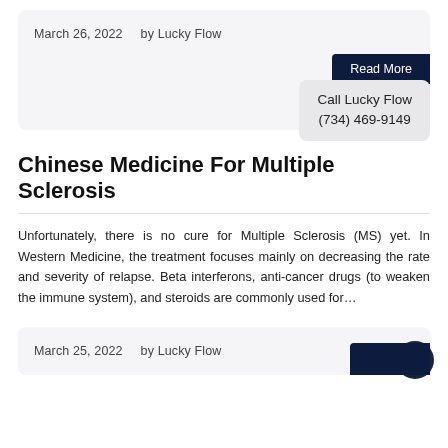March 26, 2022    by Lucky Flow
Read More
Call Lucky Flow
(734) 469-9149
Chinese Medicine For Multiple Sclerosis
Unfortunately, there is no cure for Multiple Sclerosis (MS) yet. In Western Medicine, the treatment focuses mainly on decreasing the rate and severity of relapse. Beta interferons, anti-cancer drugs (to weaken the immune system), and steroids are commonly used for…
March 25, 2022    by Lucky Flow